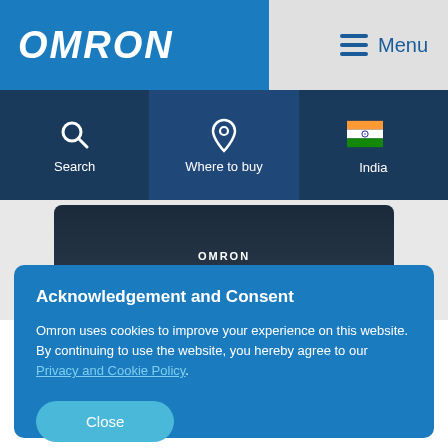[Figure (logo): OMRON logo in white italic text on blue background]
[Figure (infographic): Menu icon (hamburger) with 'Menu' text on grey background]
[Figure (infographic): Navigation bar with Search, Where to buy, and India icons on dark blue background]
[Figure (photo): OMRON body composition scale product image]
Acknowledgement and Consent
Omron uses cookies to improve your experience on this website. By continuing to use the website, you hereby agree to our Privacy and Cookie Policy.
Close